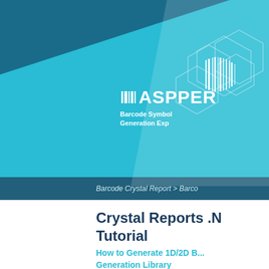[Figure (logo): ASPPER logo with barcode lines icon, white text on teal/dark teal diagonal background with hexagon watermark pattern]
Barcode Crystal Report > Barco...
Crystal Reports .N
Tutorial
How to Generate 1D/2D B...
Generation Library